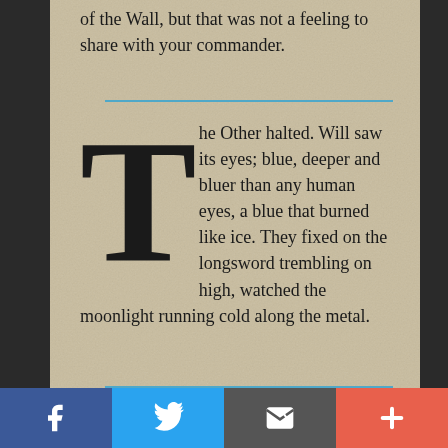of the Wall, but that was not a feeling to share with your commander.
The Other halted. Will saw its eyes; blue, deeper and bluer than any human eyes, a blue that burned like ice. They fixed on the longsword trembling on high, watched the moonlight running cold along the metal.
[Figure (infographic): Social sharing bar with Facebook, Twitter, Email, and Plus buttons]